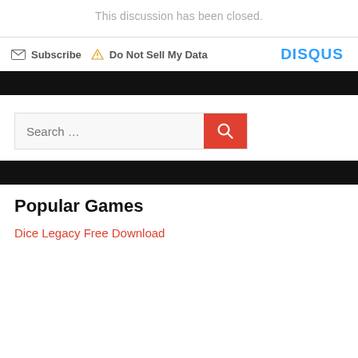This discussion has been closed.
Subscribe  Do Not Sell My Data  DISQUS
[Figure (screenshot): Search bar with red search button and magnifying glass icon]
Popular Games
Dice Legacy Free Download